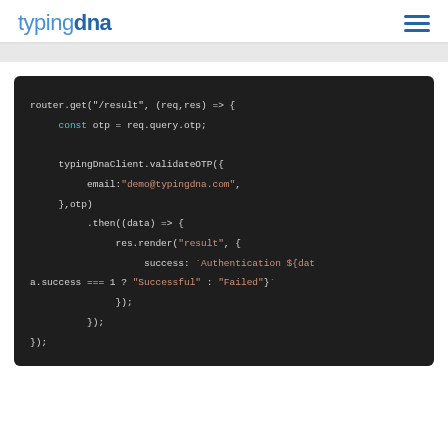typingdna
[Figure (screenshot): Dark-themed code editor screenshot showing a Node.js Express route handler that calls typingDnaClient.validateOTP with an email and otp, then renders a result page with an authentication success/failure message.]